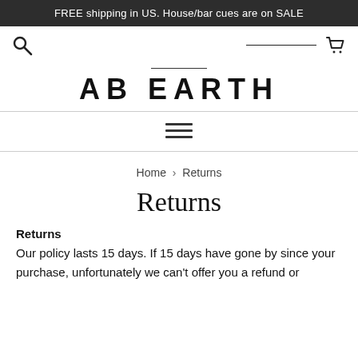FREE shipping in US. House/bar cues are on SALE
[Figure (screenshot): Website navigation bar with search icon on left, cart icon on right, and partial navigation links]
AB EARTH
[Figure (infographic): Hamburger menu icon with three horizontal lines]
Home › Returns
Returns
Returns
Our policy lasts 15 days. If 15 days have gone by since your purchase, unfortunately we can't offer you a refund or